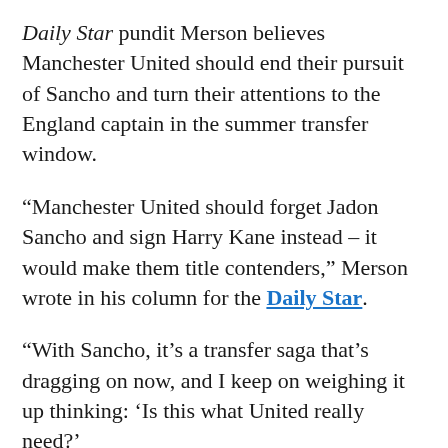Daily Star pundit Merson believes Manchester United should end their pursuit of Sancho and turn their attentions to the England captain in the summer transfer window.
“Manchester United should forget Jadon Sancho and sign Harry Kane instead – it would make them title contenders,” Merson wrote in his column for the Daily Star.
“With Sancho, it’s a transfer saga that’s dragging on now, and I keep on weighing it up thinking: ‘Is this what United really need?’
“They’ve got Mason Greenwood, who’s going to be a star. Marcus Rashford is only going to get better and better.